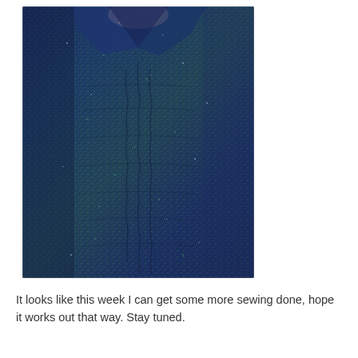[Figure (photo): Close-up photo of a person wearing a blue-green textured/woven fabric dress or top with ruching detail and a V-neckline. The fabric has a mottled pattern with blue, teal, and green tones.]
It looks like this week I can get some more sewing done, hope it works out that way. Stay tuned.